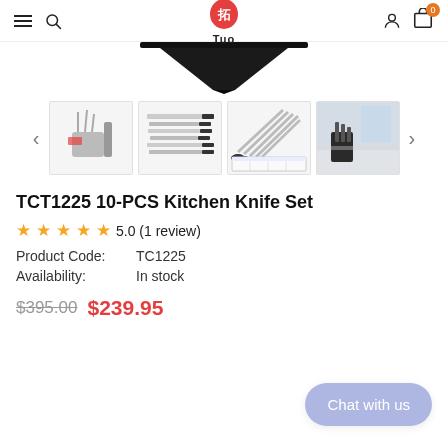TUO — Navigation bar with hamburger menu, search, logo, user and cart icons
[Figure (photo): Partial product image showing bottom of a knife set display — dark triangular shape at the top of the product photo area]
[Figure (photo): Thumbnail row with 4 product images of TCT1225 10-PCS Kitchen Knife Set from different angles, flanked by left/right navigation arrows]
TCT1225 10-PCS Kitchen Knife Set
5.0 (1 review)
Product Code:   TC1225
Availability:   In stock
$395.00  $239.95
Chat with us